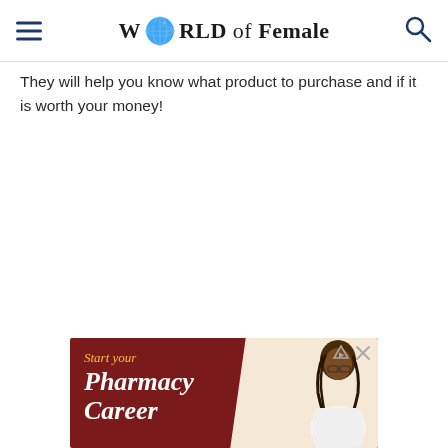W[globe]RLD of Female
They will help you know what product to purchase and if it is worth your money!
[Figure (photo): Advertisement banner for 'Start your Pharmacy Career' showing text on dark red background with a person with braids on the right side]